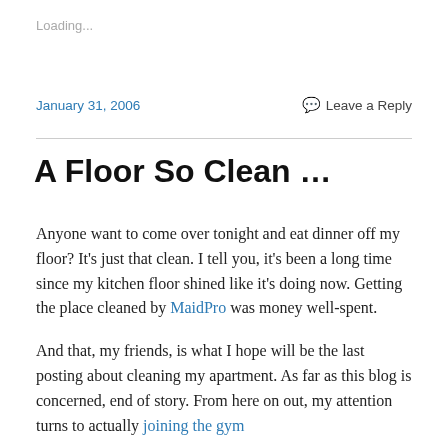Loading...
January 31, 2006
Leave a Reply
A Floor So Clean …
Anyone want to come over tonight and eat dinner off my floor? It’s just that clean. I tell you, it’s been a long time since my kitchen floor shined like it’s doing now. Getting the place cleaned by MaidPro was money well-spent.
And that, my friends, is what I hope will be the last posting about cleaning my apartment. As far as this blog is concerned, end of story. From here on out, my attention turns to actually joining the gym.